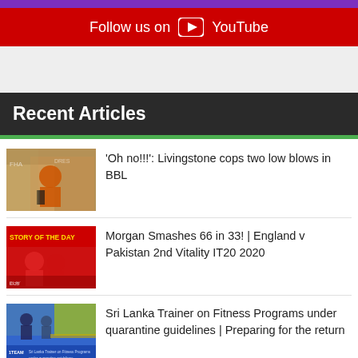Follow us on YouTube
Recent Articles
[Figure (photo): Cricket player kneeling on ground in orange kit]
'Oh no!!!': Livingstone cops two low blows in BBL
[Figure (photo): Story of the Day - cricket players in red England kit]
Morgan Smashes 66 in 33! | England v Pakistan 2nd Vitality IT20 2020
[Figure (photo): Sri Lanka trainer coaching session thumbnail]
Sri Lanka Trainer on Fitness Programs under quarantine guidelines | Preparing for the return